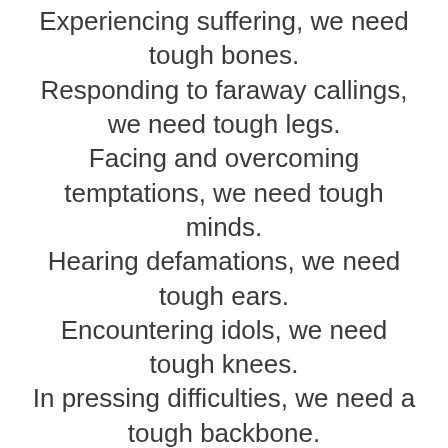Experiencing suffering, we need tough bones. Responding to faraway callings, we need tough legs. Facing and overcoming temptations, we need tough minds. Hearing defamations, we need tough ears. Encountering idols, we need tough knees. In pressing difficulties, we need a tough backbone. Meeting the poor, we need a gentle heart. Encountering the truth, we need to have a gentle intellect. Receiving travelers, we need to